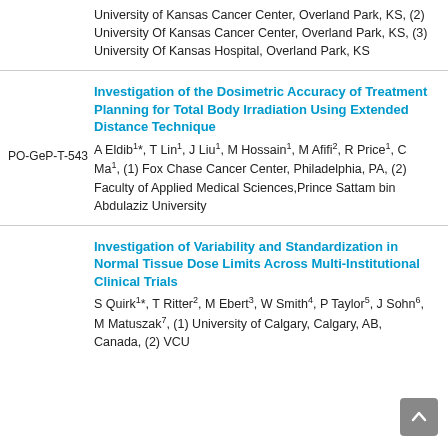University of Kansas Cancer Center, Overland Park, KS, (2) University Of Kansas Cancer Center, Overland Park, KS, (3) University Of Kansas Hospital, Overland Park, KS
Investigation of the Dosimetric Accuracy of Treatment Planning for Total Body Irradiation Using Extended Distance Technique
PO-GeP-T-543 A Eldib1*, T Lin1, J Liu1, M Hossain1, M Afifi2, R Price1, C Ma1, (1) Fox Chase Cancer Center, Philadelphia, PA, (2) Faculty of Applied Medical Sciences, Prince Sattam bin Abdulaziz University
Investigation of Variability and Standardization in Normal Tissue Dose Limits Across Multi-Institutional Clinical Trials
S Quirk1*, T Ritter2, M Ebert3, W Smith4, P Taylor5, J Sohn6, M Matuszak7, (1) University of Calgary, Calgary, AB, Canada, (2) VCU